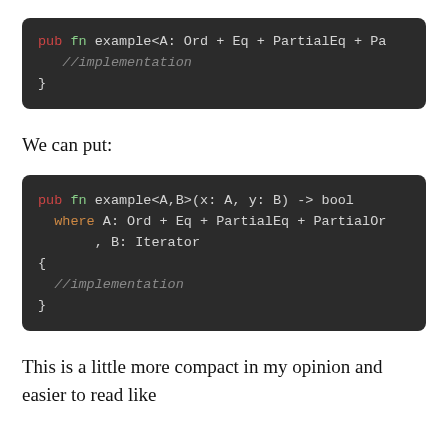[Figure (screenshot): Code block showing: pub fn example<A: Ord + Eq + PartialEq + Pa  //implementation }]
We can put:
[Figure (screenshot): Code block showing: pub fn example<A,B>(x: A, y: B) -> bool  where A: Ord + Eq + PartialEq + PartialOr  , B: Iterator { //implementation }]
This is a little more compact in my opinion and easier to read like